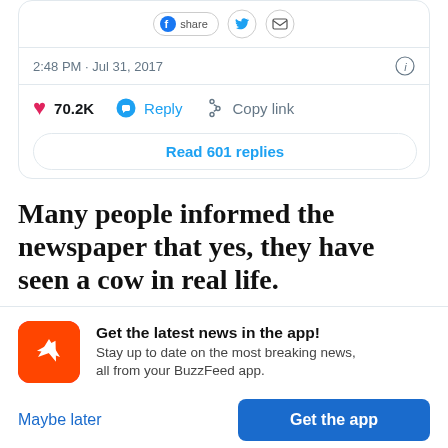[Figure (screenshot): Partial tweet card showing share buttons (Facebook share, Twitter, email), timestamp '2:48 PM · Jul 31, 2017' with info icon, engagement row with heart 70.2K, Reply, Copy link, and 'Read 601 replies' button]
Many people informed the newspaper that yes, they have seen a cow in real life.
Get the latest news in the app! Stay up to date on the most breaking news, all from your BuzzFeed app.
Maybe later
Get the app